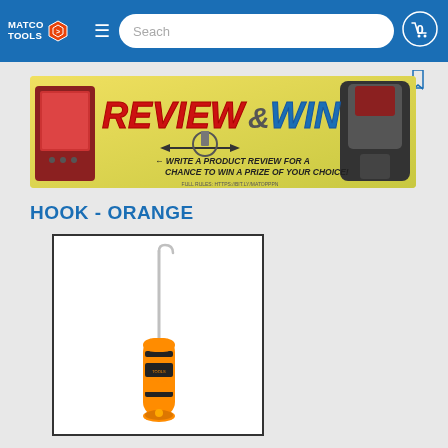Matco Tools navigation bar with logo, search, and cart
[Figure (screenshot): Matco Tools Review & Win promotional banner showing tools including a diagnostic tablet, ratchet, and impact driver with text 'WRITE A PRODUCT REVIEW FOR A CHANCE TO WIN A PRIZE OF YOUR CHOICE!']
HOOK - ORANGE
[Figure (photo): Orange and black Matco Tools hook/pick tool with long thin metal shaft ending in a small hook, and an orange ergonomic handle with black accents and Matco Tools branding]